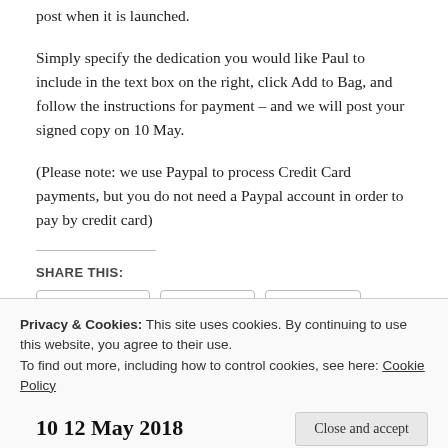post when it is launched.
Simply specify the dedication you would like Paul to include in the text box on the right, click Add to Bag, and follow the instructions for payment – and we will post your signed copy on 10 May.
(Please note: we use Paypal to process Credit Card payments, but you do not need a Paypal account in order to pay by credit card)
SHARE THIS:
Facebook  Twitter  Tumblr  Email
Privacy & Cookies: This site uses cookies. By continuing to use this website, you agree to their use.
To find out more, including how to control cookies, see here: Cookie Policy
Close and accept
10 12 May 2018